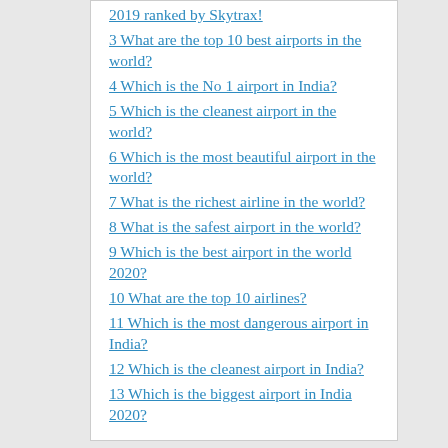2019 ranked by Skytrax!
3 What are the top 10 best airports in the world?
4 Which is the No 1 airport in India?
5 Which is the cleanest airport in the world?
6 Which is the most beautiful airport in the world?
7 What is the richest airline in the world?
8 What is the safest airport in the world?
9 Which is the best airport in the world 2020?
10 What are the top 10 airlines?
11 Which is the most dangerous airport in India?
12 Which is the cleanest airport in India?
13 Which is the biggest airport in India 2020?